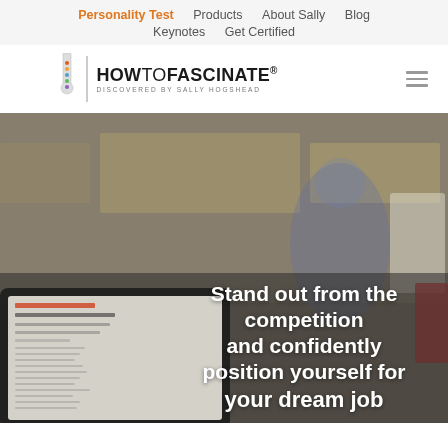Personality Test  Products  About Sally  Blog  Keynotes  Get Certified
[Figure (logo): HowToFascinate® logo with test-tube icon and tagline 'DISCOVERED BY SALLY HOGSHEAD']
[Figure (photo): Hero background photo showing blurred office/warehouse environment with a laptop in the foreground displaying a document, and overlaid white bold text reading: Stand out from the competition and confidently position yourself for your dream job]